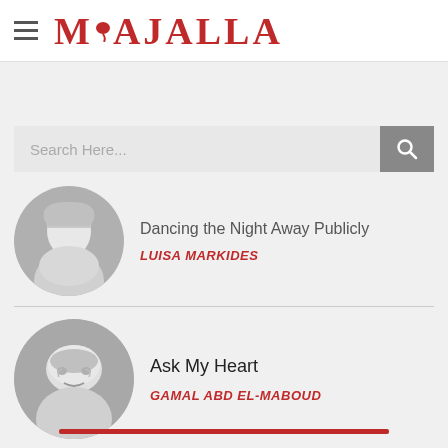MAJALLA
Search Here...
Dancing the Night Away Publicly
LUISA MARKIDES
Ask My Heart
GAMAL ABD EL-MABOUD